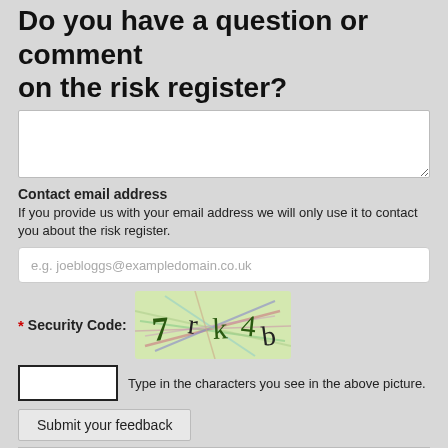Do you have a question or comment on the risk register?
[Figure (screenshot): Textarea input box for user comment]
Contact email address
If you provide us with your email address we will only use it to contact you about the risk register.
[Figure (screenshot): Email input field with placeholder text: e.g. joebloggs@exampledomain.co.uk]
[Figure (infographic): CAPTCHA security code image showing characters: 7 r k 4 b with colorful scribbles]
* Security Code:
[Figure (screenshot): Text input box for captcha characters and label: Type in the characters you see in the above picture.]
Type in the characters you see in the above picture.
[Figure (screenshot): Submit your feedback button]
Submit your feedback
The UK Plant Health Risk Register is hosted by Fera